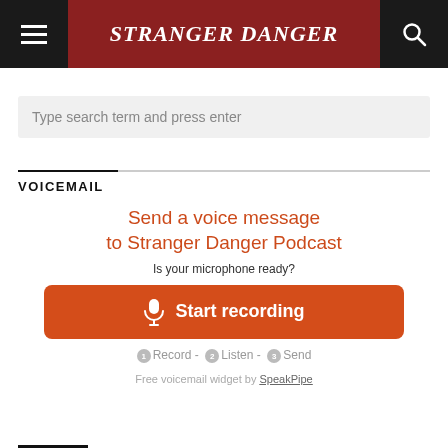Stranger Danger
Type search term and press enter
VOICEMAIL
Send a voice message to Stranger Danger Podcast
Is your microphone ready?
Start recording
1 Record - 2 Listen - 3 Send
Free voicemail widget by SpeakPipe